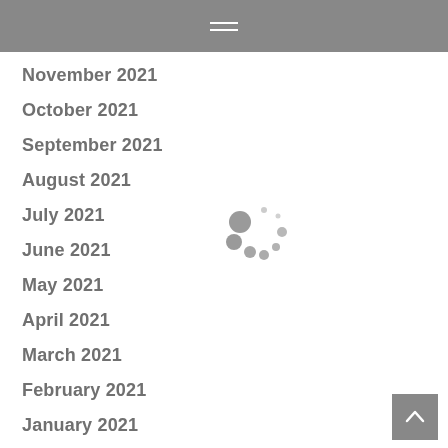November 2021
October 2021
September 2021
August 2021
July 2021
June 2021
May 2021
April 2021
March 2021
February 2021
January 2021
December 2020
[Figure (other): Loading spinner animation dots in gray]
[Figure (other): Back to top button with upward chevron arrow]